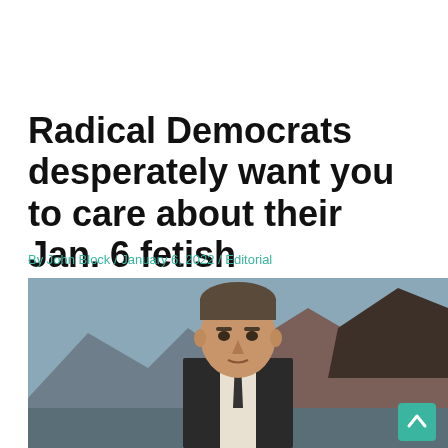Radical Democrats desperately want you to care about their Jan. 6 fetish
By John Block / January 6, 2022 / Editorial
[Figure (photo): A man in a suit jacket against a desert mountain backdrop with a scroll-to-top button in the bottom right corner]